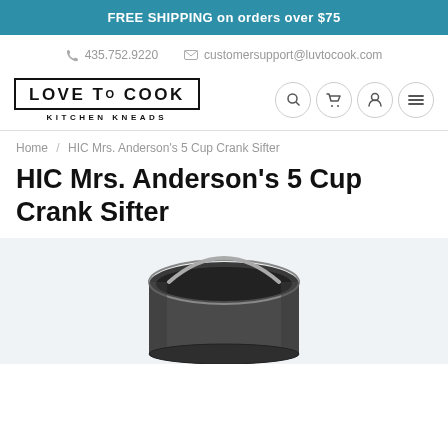FREE SHIPPING on orders over $75
435.752.9220   customersupport@luvtocook.com
[Figure (logo): LOVE TO COOK KITCHEN KNEADS logo in a bordered box with navigation icons (search, cart, user, menu)]
Home / HIC Mrs. Anderson's 5 Cup Crank Sifter
HIC Mrs. Anderson's 5 Cup Crank Sifter
[Figure (photo): Photo of a stainless steel HIC Mrs. Anderson's 5 Cup Crank Sifter, shown from above on a light grey background]